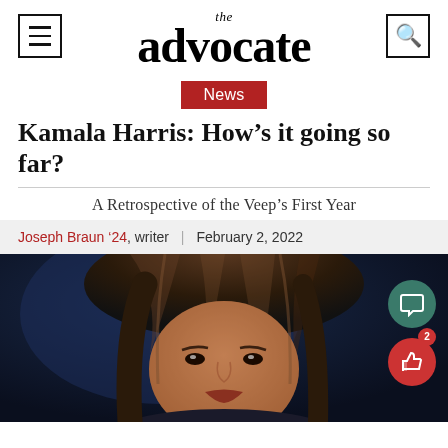the advocate
News
Kamala Harris: How's it going so far?
A Retrospective of the Veep's First Year
Joseph Braun '24, writer | February 2, 2022
[Figure (photo): Close-up photo of Kamala Harris against a dark blue background, showing her face and upper body with dark hair]